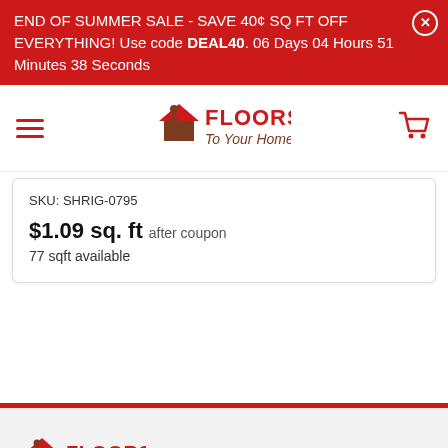END OF SUMMER SALE - SAVE 40¢ SQ FT OFF EVERYTHING! Use code DEAL40. 06 Days 04 Hours 51 Minutes 38 Seconds
[Figure (logo): Floors To Your Home logo in the navigation bar]
SKU: SHRIG-0795
$1.09 sq. ft after coupon
77 sqft available
[Figure (logo): Floors To Your Home logo in the footer area]